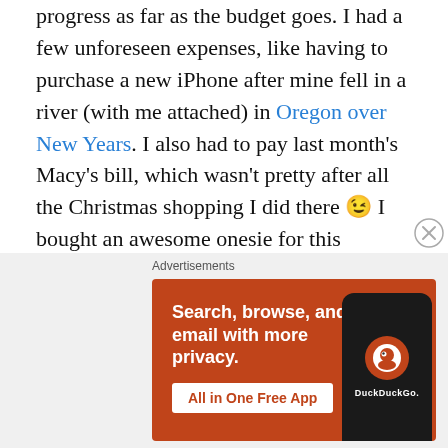progress as far as the budget goes. I had a few unforeseen expenses, like having to purchase a new iPhone after mine fell in a river (with me attached) in Oregon over New Years. I also had to pay last month's Macy's bill, which wasn't pretty after all the Christmas shopping I did there 😉 I bought an awesome onesie for this weekend's pajama pub crawl. But I did not include these extra costs in my budget this month because I thought of them as one time purchases, and really wanted to focus my budget goals on limiting my spending in the areas I could control — groceries and going out!
[Figure (screenshot): DuckDuckGo advertisement banner: orange background with text 'Search, browse, and email with more privacy. All in One Free App' and an image of a phone with DuckDuckGo logo.]